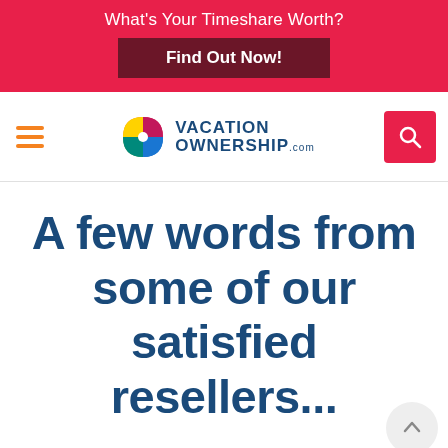What's Your Timeshare Worth?
Find Out Now!
[Figure (logo): VacationOwnership.com logo with colorful pinwheel/compass icon]
A few words from some of our satisfied resellers...